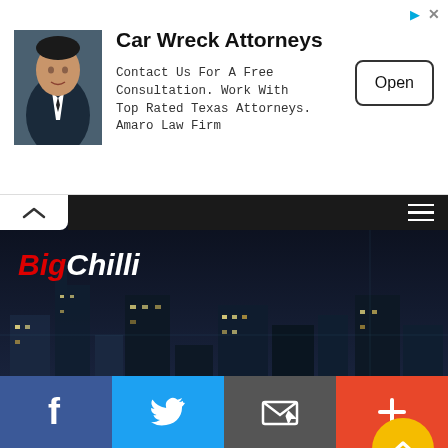[Figure (screenshot): Advertisement banner for Car Wreck Attorneys - Amaro Law Firm, showing a photo of a suited man, the title 'Car Wreck Attorneys', description text, and an 'Open' button]
Car Wreck Attorneys
Contact Us For A Free Consultation. Work With Top Rated Texas Attorneys. Amaro Law Firm
[Figure (screenshot): BigChilli website header with city skyline night photo background, BigChilli logo in red and white, hamburger menu icon, and navigation chevron]
SPITFIRES FIRING ON ALL CYLINDERS
17/12/2020
0 Comments
[Figure (screenshot): Social media sharing bar at bottom with Facebook (blue), Twitter (blue), Email (dark grey), and Plus/More (red-orange) buttons]